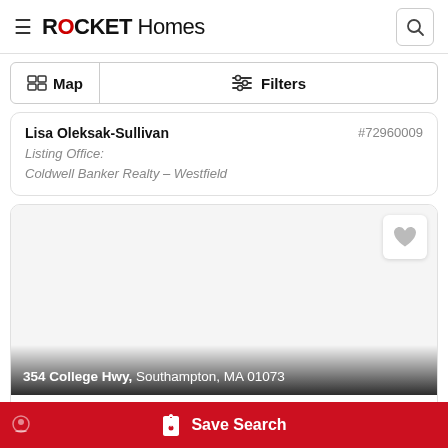ROCKET Homes
Map  Filters
Lisa Oleksak-Sullivan  #72960009
Listing Office:
Coldwell Banker Realty – Westfield
[Figure (screenshot): Real estate listing card showing blank property image with heart/favorite icon, address overlay at bottom]
354 College Hwy, Southampton, MA 01073
Save Search